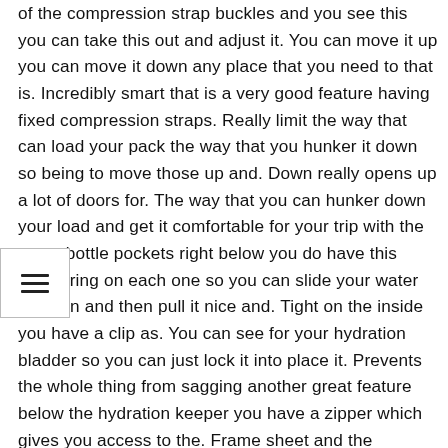of the compression strap buckles and you see this you can take this out and adjust it. You can move it up you can move it down any place that you need to that is. Incredibly smart that is a very good feature having fixed compression straps. Really limit the way that can load your pack the way that you hunker it down so being to move those up and. Down really opens up a lot of doors for. The way that you can hunker down your load and get it comfortable for your trip with the water bottle pockets right below you do have this drawstring on each one so you can slide your water bottle in and then pull it nice and. Tight on the inside you have a clip as. You can see for your hydration bladder so you can just lock it into place it. Prevents the whole thing from sagging another great feature below the hydration keeper you have a zipper which gives you access to the. Frame sheet and the aluminum stays i. Showed mentioned below that you have an additional zippered area and this is. Perfect for maps its perfect for keeping extra cash if you're traveling. Around that way if something happens you get robbed you have a spot with extra. Cash hidden away trust me you need to do. It if you're a backpacker if you're a traveler below that you have a hydration